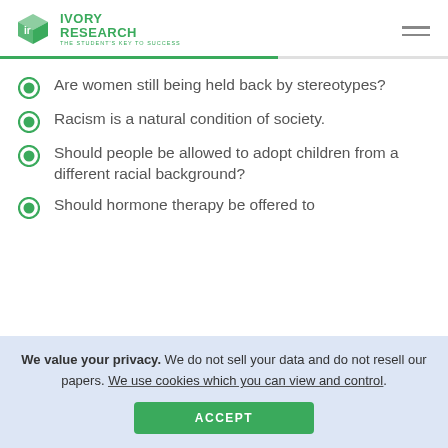IVORY RESEARCH — THE STUDENT'S KEY TO SUCCESS
Are women still being held back by stereotypes?
Racism is a natural condition of society.
Should people be allowed to adopt children from a different racial background?
Should hormone therapy be offered to
We value your privacy. We do not sell your data and do not resell our papers. We use cookies which you can view and control.